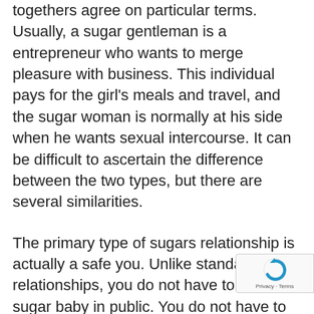togethers agree on particular terms. Usually, a sugar gentleman is a entrepreneur who wants to merge pleasure with business. This individual pays for the girl's meals and travel, and the sugar woman is normally at his side when he wants sexual intercourse. It can be difficult to ascertain the difference between the two types, but there are several similarities.
The primary type of sugars relationship is actually a safe you. Unlike standard relationships, you do not have to meet the sugar baby in public. You do not have to fulfill in person, and Resources there's no risk of physical or sexual misuse. The sugar baby will likely https://allsugardaddy.com/ contain a phone number to call and will provide the resolve of / her choice. Additionally, you do not have to